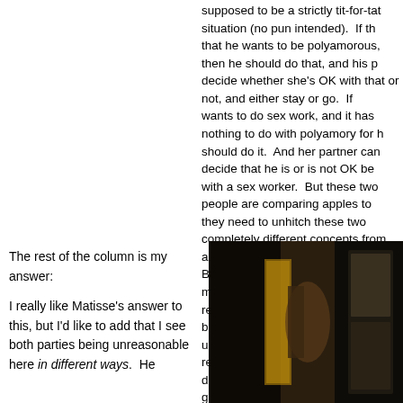supposed to be a strictly tit-for-tat situation (no pun intended). If th... that he wants to be polyamorous, then he should do that, and his p... decide whether she's OK with that or not, and either stay or go. If ... wants to do sex work, and it has nothing to do with polyamory for h... should do it. And her partner can decide that he is or is not OK be... with a sex worker. But these two people are comparing apples to ... they need to unhitch these two completely different concepts from... and work them out separately. Because you can't pretend they're ... me (and this is just me) being reluctantly monogamous OR polya... because your partner wants it is right up there with having a kid wh... really want one, but your partner does. It's not really fair to anybo... going to poison the whole situation. And as you may well imagine... anyone has the right to tell you that you may not use your body to... in any way you see fit (short of violence) just because they bought... meaningless societal dictates that have been force-fed to us all.
The rest of the column is my answer:
I really like Matisse's answer to this, but I'd like to add that I see both parties being unreasonable here in different ways. He
[Figure (photo): A dark photograph showing a figure, partially visible, with dark background and what appears to be a framed artwork visible on the right side.]